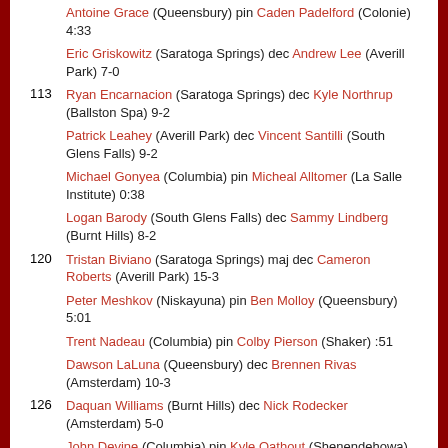Antoine Grace (Queensbury) pin Caden Padelford (Colonie) 4:33
Eric Griskowitz (Saratoga Springs) dec Andrew Lee (Averill Park) 7-0
113 Ryan Encarnacion (Saratoga Springs) dec Kyle Northrup (Ballston Spa) 9-2
Patrick Leahey (Averill Park) dec Vincent Santilli (South Glens Falls) 9-2
Michael Gonyea (Columbia) pin Micheal Alltomer (La Salle Institute) 0:38
Logan Barody (South Glens Falls) dec Sammy Lindberg (Burnt Hills) 8-2
120 Tristan Biviano (Saratoga Springs) maj dec Cameron Roberts (Averill Park) 15-3
Peter Meshkov (Niskayuna) pin Ben Molloy (Queensbury) 5:01
Trent Nadeau (Columbia) pin Colby Pierson (Shaker) :51
Dawson LaLuna (Queensbury) dec Brennen Rivas (Amsterdam) 10-3
126 Daquan Williams (Burnt Hills) dec Nick Rodecker (Amsterdam) 5-0
John Devine (Columbia) pin Kyle Oathout (Shenendehowa) :34
Sean Malenfant (Averill Park) dec William Gorman (Ballston Spa) 6-3